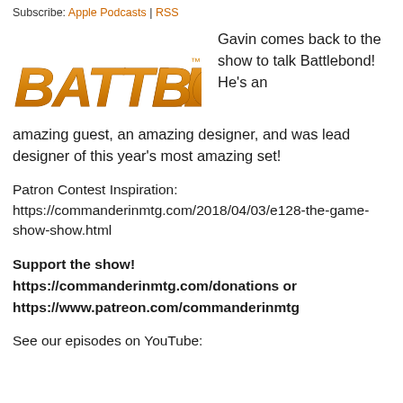Subscribe: Apple Podcasts | RSS
[Figure (logo): Battlebond logo in orange italic bold text with trademark symbol]
Gavin comes back to the show to talk Battlebond! He's an amazing guest, an amazing designer, and was lead designer of this year's most amazing set!
Patron Contest Inspiration:
https://commanderinmtg.com/2018/04/03/e128-the-game-show-show.html
Support the show!
https://commanderinmtg.com/donations or
https://www.patreon.com/commanderinmtg
See our episodes on YouTube: